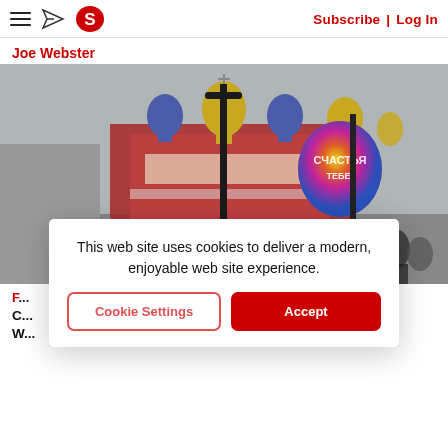Subscribe | Log In
Joe Webster
[Figure (photo): Street scene in Moscow with ornate Russian Orthodox church domes (blue and gold) in background, a colorful balloon with Russian text in the center, and people walking on a city street in the foreground.]
This web site uses cookies to deliver a modern, enjoyable web site experience.
Cookie Settings  Accept
F... C... W...